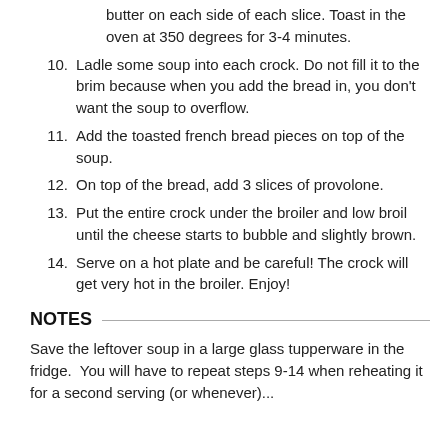butter on each side of each slice. Toast in the oven at 350 degrees for 3-4 minutes.
10. Ladle some soup into each crock. Do not fill it to the brim because when you add the bread in, you don't want the soup to overflow.
11. Add the toasted french bread pieces on top of the soup.
12. On top of the bread, add 3 slices of provolone.
13. Put the entire crock under the broiler and low broil until the cheese starts to bubble and slightly brown.
14. Serve on a hot plate and be careful! The crock will get very hot in the broiler. Enjoy!
NOTES
Save the leftover soup in a large glass tupperware in the fridge.  You will have to repeat steps 9-14 when reheating it for a second serving (or whenever)...